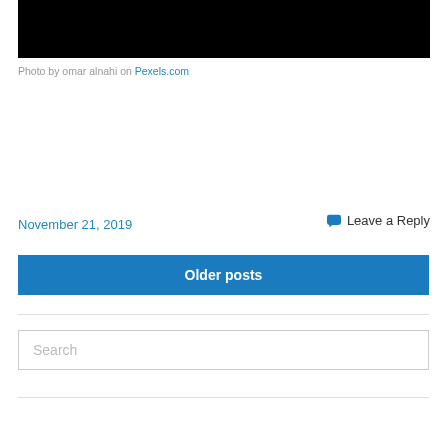[Figure (photo): Black photo (top portion cropped)]
Photo by omar alnahi on Pexels.com
November 21, 2019
Leave a Reply
Older posts
Search